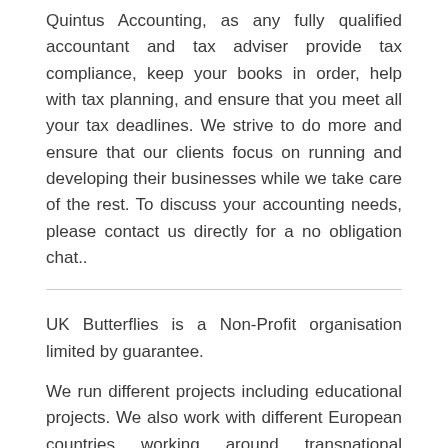Quintus Accounting, as any fully qualified accountant and tax adviser provide tax compliance, keep your books in order, help with tax planning, and ensure that you meet all your tax deadlines. We strive to do more and ensure that our clients focus on running and developing their businesses while we take care of the rest. To discuss your accounting needs, please contact us directly for a no obligation chat..
UK Butterflies is a Non-Profit organisation limited by guarantee.
We run different projects including educational projects. We also work with different European countries working around transnational projects together.